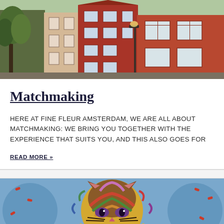[Figure (photo): Photograph of historic Dutch canal houses with red brick facades, white-framed windows, and a tree on the left side. Typical Amsterdam architecture.]
Matchmaking
HERE AT FINE FLEUR AMSTERDAM, WE ARE ALL ABOUT MATCHMAKING: WE BRING YOU TOGETHER WITH THE EXPERIENCE THAT SUITS YOU, AND THIS ALSO GOES FOR
READ MORE »
[Figure (photo): Colorful pop-art style painting of a cat face with multicolored abstract brushstrokes in blue, red, green, brown, and yellow tones against a blue background.]